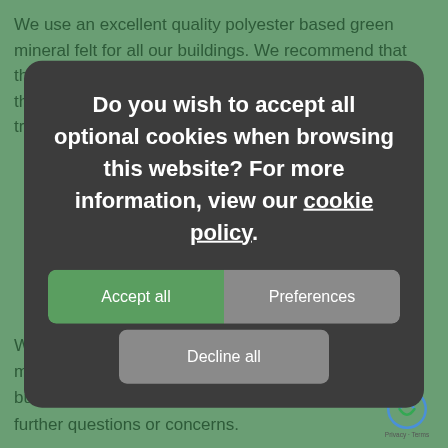We use an excellent quality polyester based green mineral felt for all our buildings. We recommend that the felt covering is checked regularly for any damage, this mainly occurs when the building is sited under trees and bushes etc. It is best to cut back any foliage
[Figure (screenshot): Cookie consent modal dialog with dark grey background on green webpage. Contains title text, cookie policy link, Accept all button (green), Preferences button (grey), and Decline all button (grey).]
With a little maintenance each year you should have many years of enjoyment from your new garden building but please do get in touch if you have any further questions or concerns.